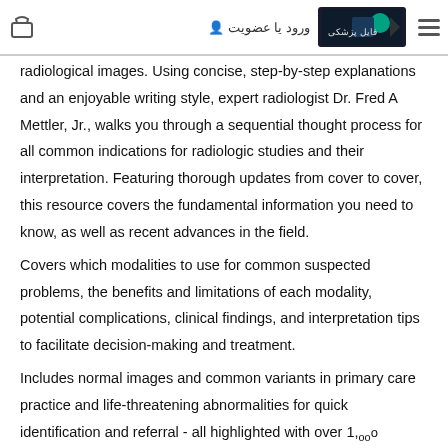ورود یا عضویت [navigation header with basket icon, logo, and hamburger menu]
radiological images. Using concise, step-by-step explanations and an enjoyable writing style, expert radiologist Dr. Fred A Mettler, Jr., walks you through a sequential thought process for all common indications for radiologic studies and their interpretation. Featuring thorough updates from cover to cover, this resource covers the fundamental information you need to know, as well as recent advances in the field.
Covers which modalities to use for common suspected problems, the benefits and limitations of each modality, potential complications, clinical findings, and interpretation tips to facilitate decision-making and treatment.
Includes normal images and common variants in primary care practice and life-threatening abnormalities for quick identification and referral - all highlighted with over 1,000 radiographic images, many in comparative panels of normal, abnormal, or correlative findings.